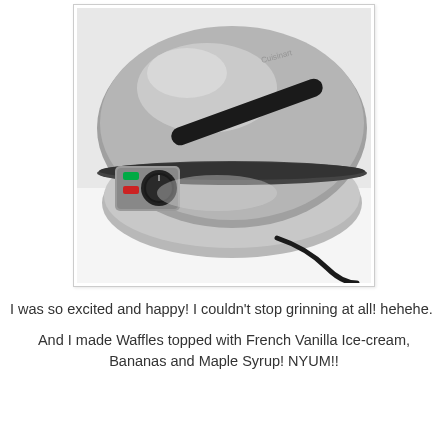[Figure (photo): Close-up photo of a Cuisinart stainless steel waffle maker with black handle, indicator lights (green and red), a black control knob, and a black power cord visible on a white surface.]
I was so excited and happy! I couldn't stop grinning at all! hehehe.
And I made Waffles topped with French Vanilla Ice-cream, Bananas and Maple Syrup! NYUM!!